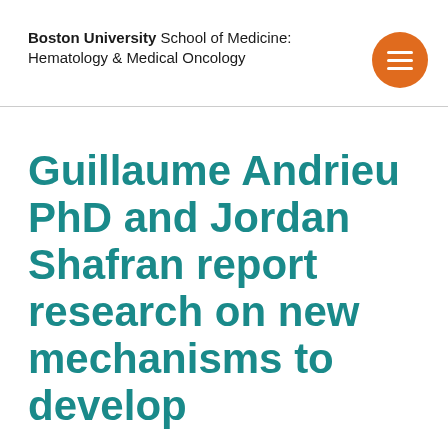Boston University School of Medicine: Hematology & Medical Oncology
Guillaume Andrieu PhD and Jordan Shafran report research on new mechanisms to develop